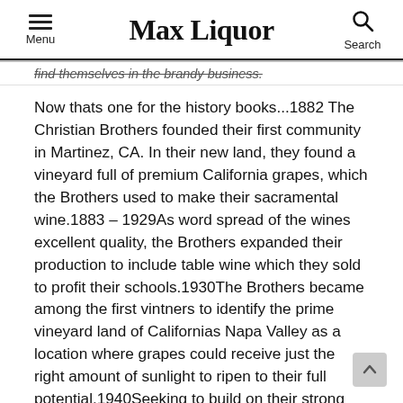Max Liquor
find themselves in the brandy business.
Now thats one for the history books...1882 The Christian Brothers founded their first community in Martinez, CA. In their new land, they found a vineyard full of premium California grapes, which the Brothers used to make their sacramental wine.1883 – 1929As word spread of the wines excellent quality, the Brothers expanded their production to include table wine which they sold to profit their schools.1930The Brothers became among the first vintners to identify the prime vineyard land of Californias Napa Valley as a location where grapes could receive just the right amount of sunlight to ripen to their full potential.1940Seeking to build on their strong wine tradition, Brother Timothy, the cellar master, began working to utilize the fine Napa Valley grape